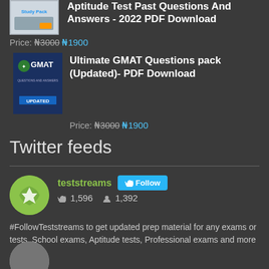[Figure (photo): Study Pack book cover thumbnail]
Aptitude Test Past Questions And Answers - 2022 PDF Download
Price: ₦3000 ₦1900
[Figure (photo): Ultimate GMAT Questions pack book cover thumbnail - blue background with GMAT logo and UPDATED label]
Ultimate GMAT Questions pack (Updated)- PDF Download
Price: ₦3000 ₦1900
Twitter feeds
[Figure (screenshot): Twitter feed widget showing teststreams account with green avatar, Follow button, 1,596 tweets, 1,392 followers, and bio text]
#FollowTeststreams to get updated prep material for any exams or tests. School exams, Aptitude tests, Professional exams and more